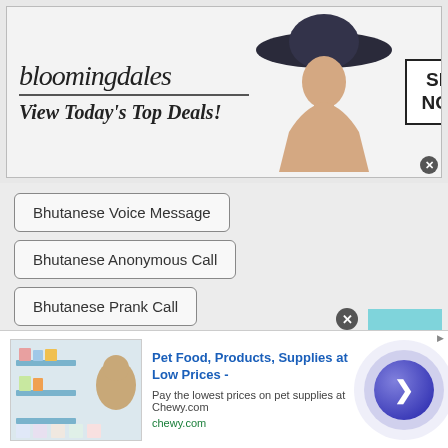[Figure (screenshot): Bloomingdales advertisement banner: logo, 'View Today's Top Deals!', model with hat, SHOP NOW button]
Bhutanese Voice Message
Bhutanese Anonymous Call
Bhutanese Prank Call
Bhutanese Random Numbers to Call
Bhutanese ICQ Chat
Bhutanese Random audio chat with strangers
Bhutanese Talk to strangers via audio calls
[Figure (screenshot): Chewy.com advertisement: Pet Food, Products, Supplies at Low Prices - chewy.com with product images and navigation arrow]